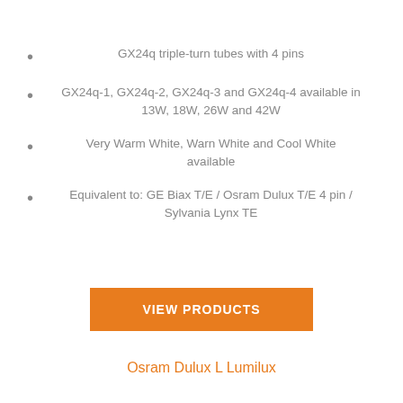GX24q triple-turn tubes with 4 pins
GX24q-1, GX24q-2, GX24q-3 and GX24q-4 available in 13W, 18W, 26W and 42W
Very Warm White, Warn White and Cool White available
Equivalent to: GE Biax T/E / Osram Dulux T/E 4 pin / Sylvania Lynx TE
VIEW PRODUCTS
Osram Dulux L Lumilux